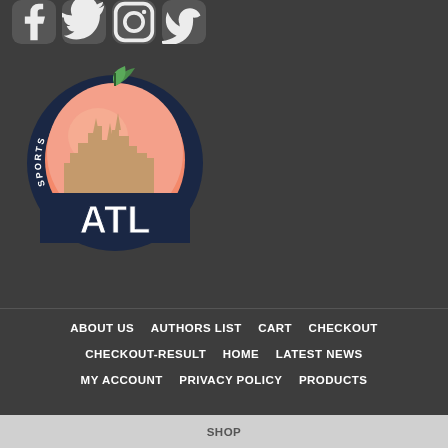[Figure (logo): Sports Talk ATL logo featuring a peach with Atlanta city skyline silhouette and the text ATL in bold white letters, with SPORTS TALK written around the left side of the circle]
ABOUT US  AUTHORS LIST  CART  CHECKOUT  CHECKOUT-RESULT  HOME  LATEST NEWS  MY ACCOUNT  PRIVACY POLICY  PRODUCTS  SHOP